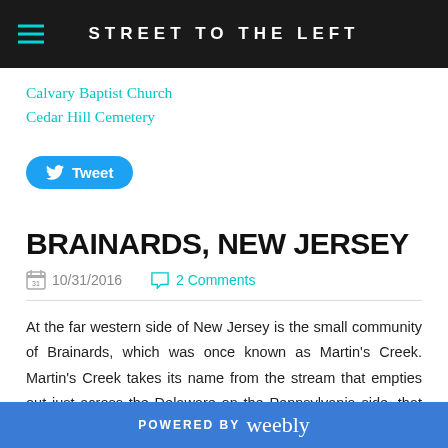STREET TO THE LEFT
Calvary Baptist Church
Cedar Hill Cemetery
[Figure (other): Tweet button with Twitter bird icon]
BRAINARDS, NEW JERSEY
10/31/2016   2 Comments
At the far western side of New Jersey is the small community of Brainards, which was once known as Martin's Creek. Martin's Creek takes its name from the stream that empties out just across the Delaware on the Pennsylvania side, that area is also known as
POWERED BY weebly